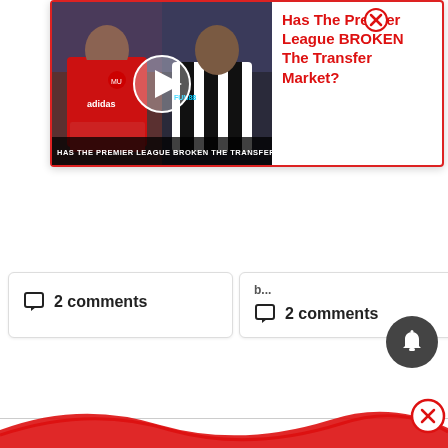[Figure (screenshot): Popup video card showing two football players - one holding a Manchester United shirt, another in Newcastle kit - with a play button overlay and text overlay 'Has The Premier League Broken The Transfer Market?'. Red border popup with title in red text and a close X button.]
Has The Premier League BROKEN The Transfer Market?
2 comments
b...
2 comments
[Figure (other): Dark circular bell/notification button]
[Figure (other): Red wavy decorative line at bottom of page with red circle close button]